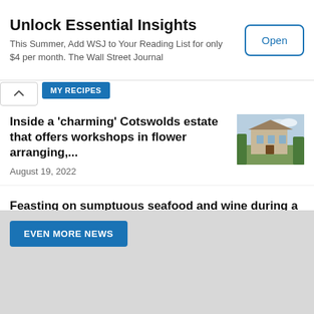Unlock Essential Insights
This Summer, Add WSJ to Your Reading List for only $4 per month. The Wall Street Journal
Open
MY RECIPES
Inside a 'charming' Cotswolds estate that offers workshops in flower arranging,...
August 19, 2022
[Figure (photo): Photo of a Cotswolds estate with green hedges and stone building]
Feasting on sumptuous seafood and wine during a foodie-inspired jaunt from...
August 19, 2022
EVEN MORE NEWS